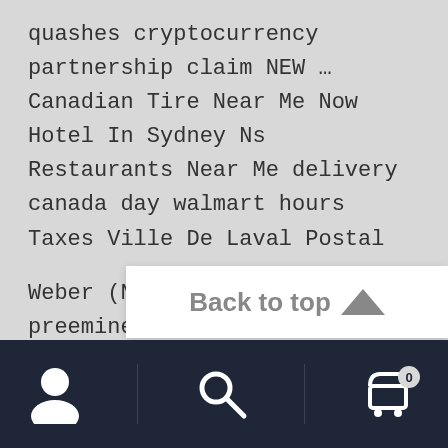quashes cryptocurrency partnership claim NEW … Canadian Tire Near Me Now Hotel In Sydney Ns Restaurants Near Me delivery canada day walmart hours Taxes Ville De Laval Postal
Weber (NYSE: WEBR) is the preeminent decades-old outdoor grilling business that enthusiasts love. traeger (nyse: COOK) is the up-and-coming disruptor looking to convert every grill master into a wood...
[Figure (screenshot): Back to top button overlay with upward triangle arrow]
[Figure (screenshot): Dark footer navigation bar with user icon, search icon, and cart icon with badge showing 0]